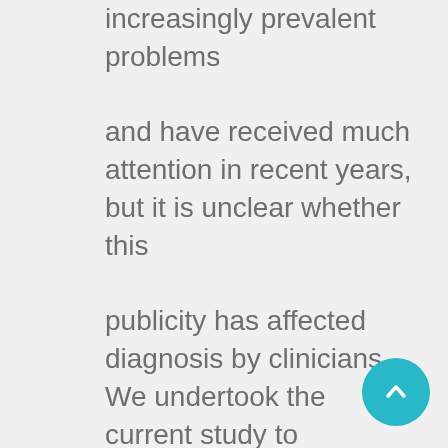increasingly prevalent problems

and have received much attention in recent years, but it is unclear whether this

publicity has affected diagnosis by clinicians. We undertook the current study to

assess trends in diagnosis rates of overweight and obesity in children.